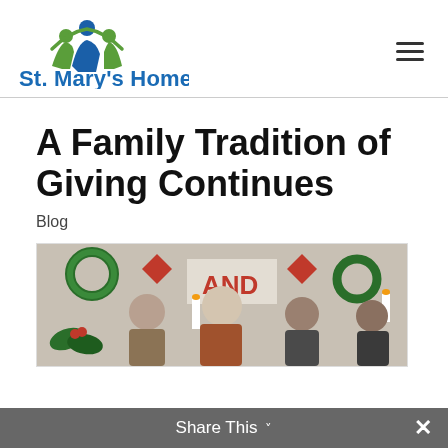[Figure (logo): St. Mary's Home logo with three figures icon above the text 'St. Mary's Home' in blue]
A Family Tradition of Giving Continues
Blog
[Figure (photo): Group of people standing in front of a Christmas-decorated wall with wreaths and bows; partial photo visible]
Share This